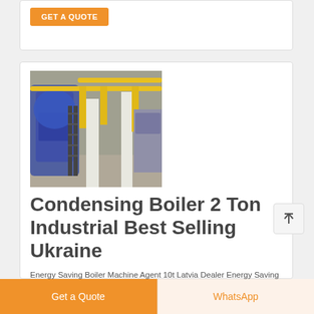GET A QUOTE
[Figure (photo): Industrial boiler room with large blue boilers, yellow pipes, metal staircases, and white structural columns in a factory setting.]
Condensing Boiler 2 Ton Industrial Best Selling Ukraine
Energy Saving Boiler Machine Agent 10t Latvia Dealer Energy Saving 10t Biomass Boiler Moldavia. 2021/9/17 · Agent 10t Oil Powered Boiler Machine Industrial Agent 2t Coal Boiler Plant High Efficiency Latvia Energy Saving Agent 4t Biomass Fired Boiler
Get a Quote
WhatsApp